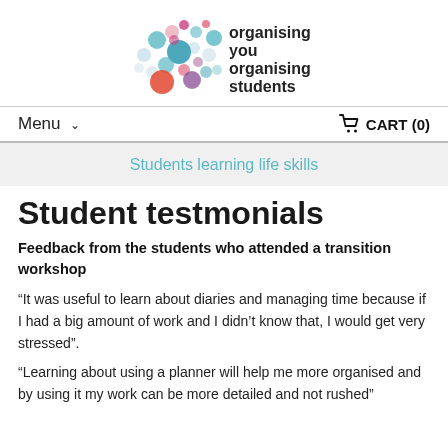[Figure (logo): Organising You / Organising Students logo with colourful circles]
Menu  ∨   CART (0)
Students learning life skills
Student testmonials
Feedback from the students who attended a transition workshop
“It was useful to learn about diaries and managing time because if I had a big amount of work and I didn’t know that, I would get very stressed”.
“Learning about using a planner will help me more organised and by using it my work can be more detailed and not rushed”